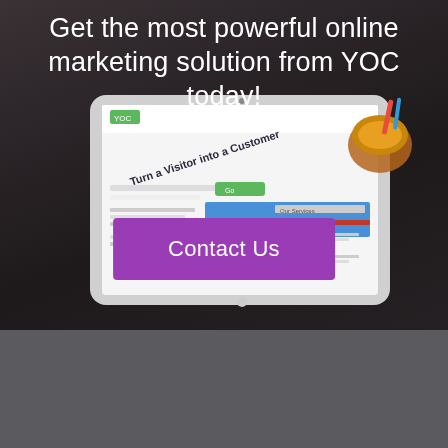Get the most powerful online marketing solution from YOC today!
[Figure (screenshot): Tablet device showing YOC website with 'Turn a Visitor into a Customer' headline, displayed on dark wooden desk background]
Contact Us
[Figure (logo): YOC 'Your Online Conversation' logo with colorful Y-O-C letters and text]
[Figure (other): Google reCAPTCHA badge with Privacy and Terms links]
YOC Online Marketing Products. Turn a visitor into a customer.